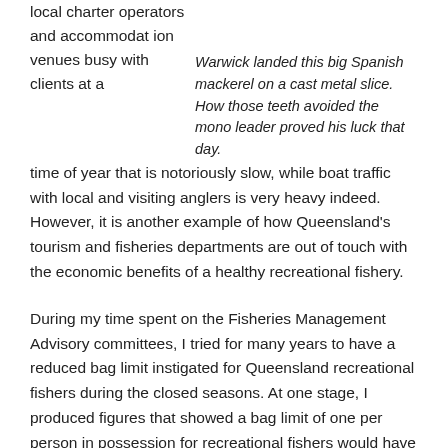local charter operators and accommodation venues busy with clients at a time of year that is notoriously slow, while boat traffic with local and visiting anglers is very heavy indeed. However, it is another example of how Queensland's tourism and fisheries departments are out of touch with the economic benefits of a healthy recreational fishery.
Warwick landed this big Spanish mackerel on a cast metal slice. How those teeth avoided the mono leader proved his luck that day.
During my time spent on the Fisheries Management Advisory committees, I tried for many years to have a reduced bag limit instigated for Queensland recreational fishers during the closed seasons. At one stage, I produced figures that showed a bag limit of one per person in possession for recreational fishers would have little effect on breeding stocks, but this initiative was rebuffed by commercial fishers, indignant that because they couldn't fish the entire community had to follow suit.